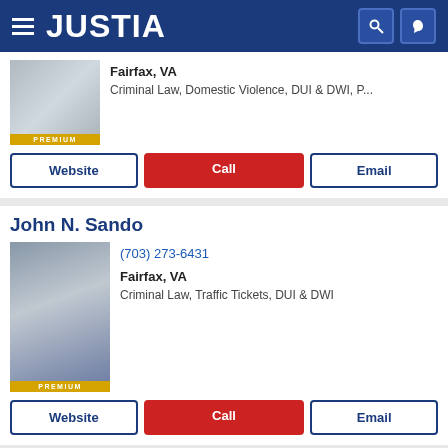JUSTIA
Fairfax, VA
Criminal Law, Domestic Violence, DUI & DWI, P...
Website | Call | Email
John N. Sando
(703) 273-6431
Fairfax, VA
Criminal Law, Traffic Tickets, DUI & DWI
Website | Call | Email
Michael A Robinson